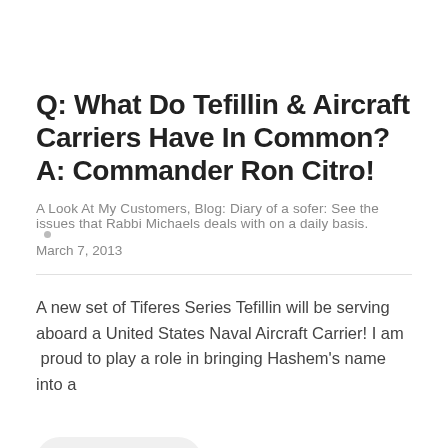Q: What Do Tefillin & Aircraft Carriers Have In Common? A: Commander Ron Citro!
A Look At My Customers, Blog: Diary of a sofer: See the issues that Rabbi Michaels deals with on a daily basis.
March 7, 2013
A new set of Tiferes Series Tefillin will be serving aboard a United States Naval Aircraft Carrier! I am proud to play a role in bringing Hashem's name into a
Read More
Leave a comment